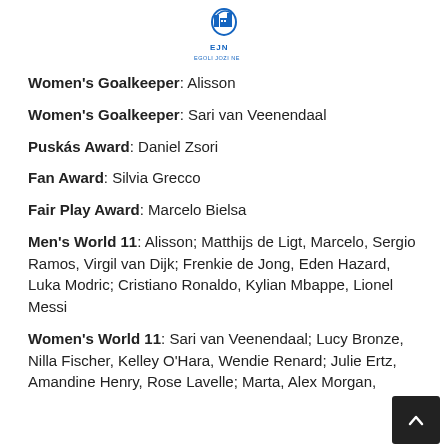[Figure (logo): EJN Egoli Jozi Ne logo with blue building icon and text]
Women's Goalkeeper: Alisson
Women's Goalkeeper: Sari van Veenendaal
Puskás Award: Daniel Zsori
Fan Award: Silvia Grecco
Fair Play Award: Marcelo Bielsa
Men's World 11: Alisson; Matthijs de Ligt, Marcelo, Sergio Ramos, Virgil van Dijk; Frenkie de Jong, Eden Hazard, Luka Modric; Cristiano Ronaldo, Kylian Mbappe, Lionel Messi
Women's World 11: Sari van Veenendaal; Lucy Bronze, Nilla Fischer, Kelley O'Hara, Wendie Renard; Julie Ertz, Amandine Henry, Rose Lavelle; Marta, Alex Morgan,